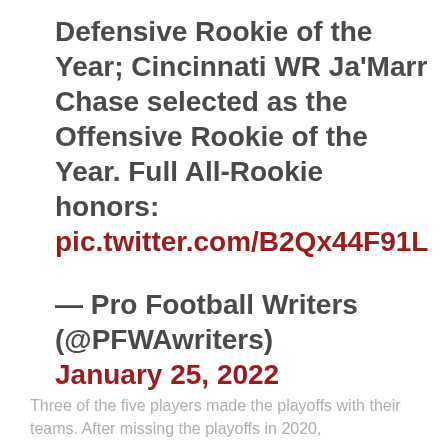Defensive Rookie of the Year; Cincinnati WR Ja'Marr Chase selected as the Offensive Rookie of the Year. Full All-Rookie honors: pic.twitter.com/B2Qx44F91L
— Pro Football Writers (@PFWAwriters) January 25, 2022
Three of the five players made the playoffs with their teams. After missing the playoffs in 2020,